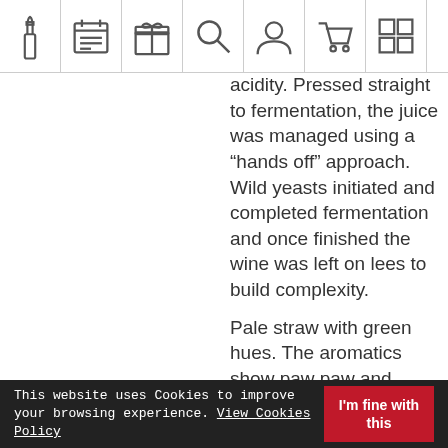[Figure (other): Navigation bar with icons: wine bottle, calendar/menu, gift box, search magnifier, user/account, shopping cart, grid/list view]
acidity. Pressed straight to fermentation, the juice was managed using a “hands off” approach. Wild yeasts initiated and completed fermentation and once finished the wine was left on lees to build complexity.
Pale straw with green hues. The aromatics show paw paw and mango with blossom notes and sweet spice. The wine has a savoury edge with flinty notes from the wild ferment. The palate is fine and creamy with a touch of
This website uses Cookies to improve your browsing experience. View Cookies Policy
I'm fine with this